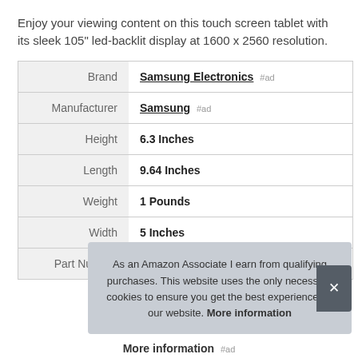Enjoy your viewing content on this touch screen tablet with its sleek 105" led-backlit display at 1600 x 2560 resolution.
|  |  |
| --- | --- |
| Brand | Samsung Electronics #ad |
| Manufacturer | Samsung #ad |
| Height | 6.3 Inches |
| Length | 9.64 Inches |
| Weight | 1 Pounds |
| Width | 5 Inches |
| Part Number | SM-T720NZKAXAR or |
As an Amazon Associate I earn from qualifying purchases. This website uses the only necessary cookies to ensure you get the best experience on our website. More information
More information #ad